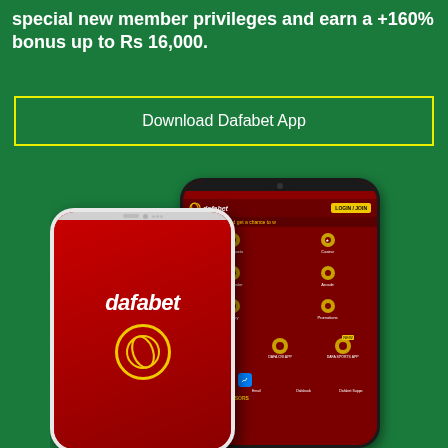special new member privileges and earn a +160% bonus up to Rs 16,000.
[Figure (screenshot): A button with yellow outline on green background labeled 'Download Dafabet App']
[Figure (photo): Two smartphones showing the Dafabet app. Front phone (white/grey) shows the dafabet brand logo on a red background. Back phone (dark) shows the Dafabet app UI with icons for Dafa Sports, Casino, Live Dealer, Arcade, Lottery, Promotions, Download Apps section, and Contact Us section with social icons.]